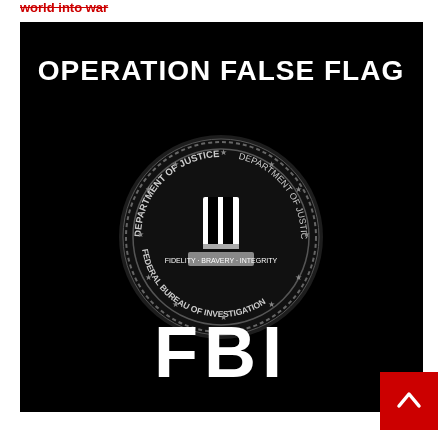world into war
[Figure (illustration): Black background image with text 'OPERATION FALSE FLAG' in bold white letters at top, FBI seal (Department of Justice - Federal Bureau of Investigation) in center, and 'FBI' in large bold white letters at bottom.]